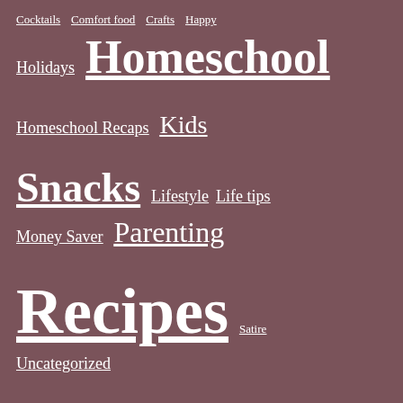[Figure (infographic): Tag cloud on a muted mauve/rosewood background with white text links of varying sizes representing blog categories: Cocktails, Comfort food, Crafts, Happy, Holidays, Homeschool, Homeschool Recaps, Kids, Snacks, Lifestyle, Life tips, Money Saver, Parenting, Recipes, Satire, Uncategorized]